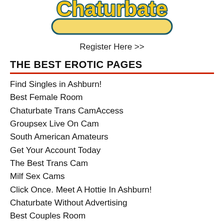[Figure (logo): Chaturbate logo with yellow stylized text and teal/dark blue outline on white background]
Register Here >>
THE BEST EROTIC PAGES
Find Singles in Ashburn!
Best Female Room
Chaturbate Trans CamAccess
Groupsex Live On Cam
South American Amateurs
Get Your Account Today
The Best Trans Cam
Milf Sex Cams
Click Once. Meet A Hottie In Ashburn!
Chaturbate Without Advertising
Best Couples Room
Free Nude Cam Girls
Not Virgin Couples